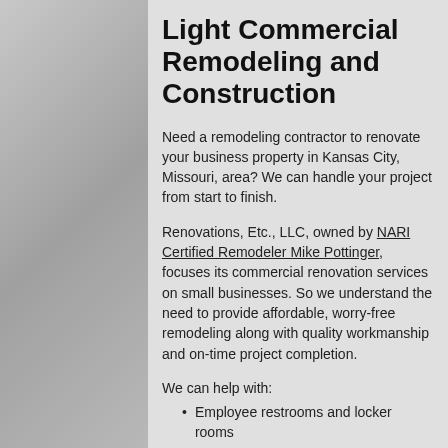Light Commercial Remodeling and Construction
Need a remodeling contractor to renovate your business property in Kansas City, Missouri, area? We can handle your project from start to finish.
Renovations, Etc., LLC, owned by NARI Certified Remodeler Mike Pottinger, focuses its commercial renovation services on small businesses. So we understand the need to provide affordable, worry-free remodeling along with quality workmanship and on-time project completion.
We can help with:
Employee restrooms and locker rooms
Elevators
Accessibility modifications